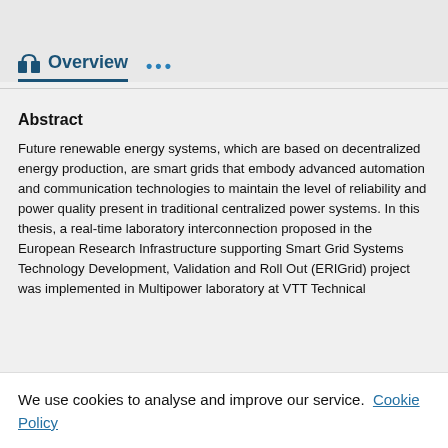Overview ...
Abstract
Future renewable energy systems, which are based on decentralized energy production, are smart grids that embody advanced automation and communication technologies to maintain the level of reliability and power quality present in traditional centralized power systems. In this thesis, a real-time laboratory interconnection proposed in the European Research Infrastructure supporting Smart Grid Systems Technology Development, Validation and Roll Out (ERIGrid) project was implemented in Multipower laboratory at VTT Technical
We use cookies to analyse and improve our service. Cookie Policy